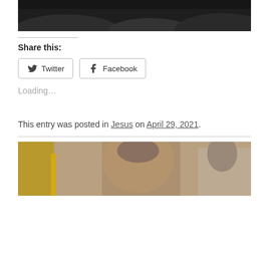[Figure (photo): Dark landscape photo with hills/mountains in the background, grayscale]
Share this:
Twitter  Facebook
Loading...
This entry was posted in Jesus on April 29, 2021.
[Figure (photo): Colorful illustration of a woman and man in biblical setting, marketplace scene]